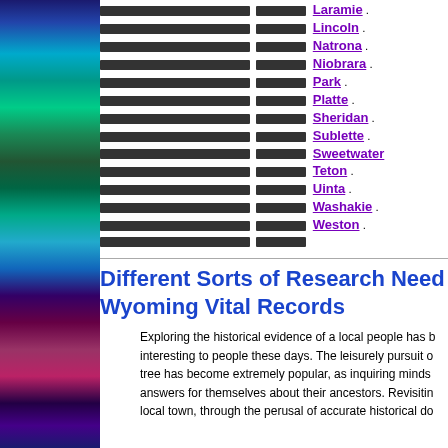Laramie .
Lincoln .
Natrona .
Niobrara .
Park .
Platte .
Sheridan .
Sublette .
Sweetwater .
Teton .
Uinta .
Washakie .
Weston .
(trailing placeholder line)
Different Sorts of Research Needs Wyoming Vital Records
Exploring the historical evidence of a local people has become very interesting to people these days. The leisurely pursuit of one's family tree has become extremely popular, as inquiring minds seek to find answers for themselves about their ancestors. Revisiting the history of a local town, through the perusal of accurate historical do…